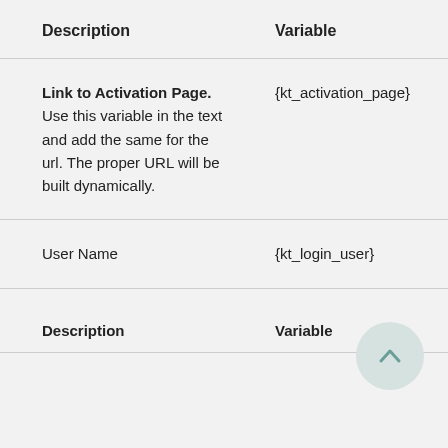| Description | Variable |
| --- | --- |
| Link to Activation Page.
Use this variable in the text and add the same for the url. The proper URL will be built dynamically. | {kt_activation_page} |
| User Name | {kt_login_user} |
| Description | Variable |